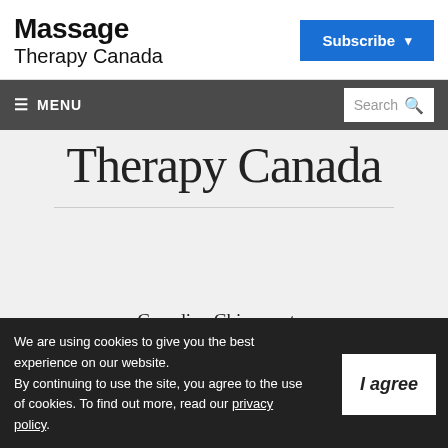Massage Therapy Canada
Subscribe
≡ MENU  Search
[Figure (logo): Massage Therapy Canada large logo text in light serif font on grey background]
Canadian Chiropractor
Buyers Guide
We are using cookies to give you the best experience on our website. By continuing to use the site, you agree to the use of cookies. To find out more, read our privacy policy.